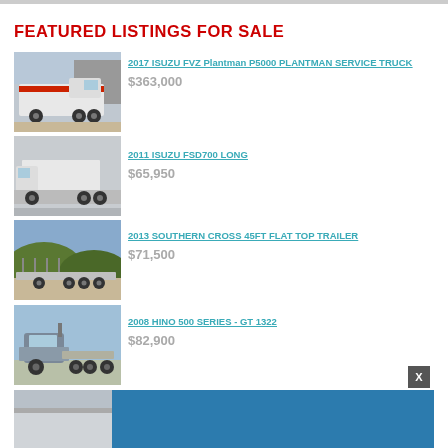FEATURED LISTINGS FOR SALE
[Figure (photo): White Isuzu FVZ service truck with red markings parked in front of a building]
2017 ISUZU FVZ Plantman P5000 PLANTMAN SERVICE TRUCK
$363,000
[Figure (photo): White Isuzu FSD700 long box truck]
2011 ISUZU FSD700 LONG
$65,950
[Figure (photo): 2013 Southern Cross 45ft flat top trailer on a road with hills in background]
2013 SOUTHERN CROSS 45FT FLAT TOP TRAILER
$71,500
[Figure (photo): 2008 Hino 500 Series GT 1322 truck]
2008 HINO 500 SERIES - GT 1322
$82,900
[Figure (photo): Partial view of another listing at bottom of page with blue overlay]